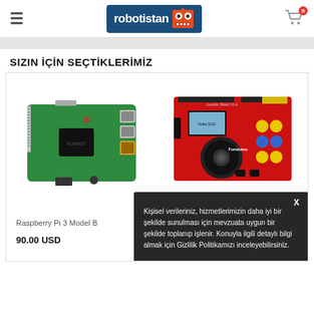robotistan — hamburger menu — cart 0
SIZIN İÇİN SEÇTİKLERİMİZ
[Figure (photo): Raspberry Pi 3 Model B board photo]
[Figure (photo): Funduino Joystick Shield V1.A red board with joystick and buttons]
Raspberry Pi 3 Model B
90.00 USD
Kişisel verileriniz, hizmetlerimizin daha iyi bir şekilde sunulması için mevzuata uygun bir şekilde toplanıp işlenir. Konuyla ilgili detaylı bilgi almak için Gizlilik Politikamızı inceleyebilirsiniz.